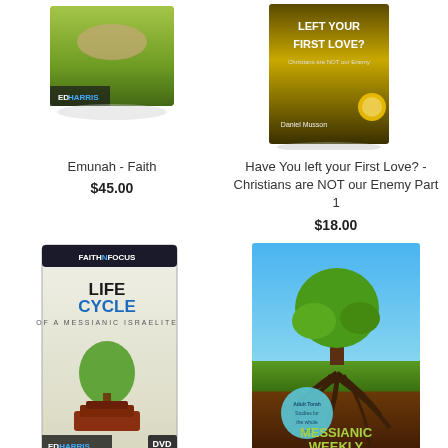[Figure (photo): Book/DVD product image - Emunah Faith by Ed Harris, showing a hand over green grass field]
Emunah - Faith
$45.00
[Figure (photo): Book/DVD product image - Have You left your First Love? Christians are NOT our Enemy Part 1 by Daniel Musson]
Have You left your First Love? - Christians are NOT our Enemy Part 1
$18.00
[Figure (photo): DVD product image - LifeCycle of a Messianic Israelite by Ed Harris, Faith in Focus series, showing a tree on luggage]
[Figure (photo): Book cover - Messianic Weekly Volume 1 - The Whole Torah, showing a tree with roots above and below ground]